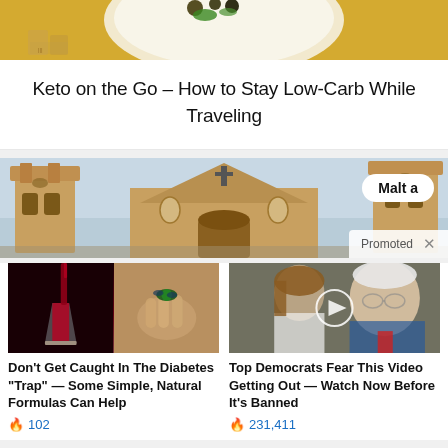[Figure (photo): Bowl of food with blueberries and greens on yellow background, partially cropped]
Keto on the Go – How to Stay Low-Carb While Traveling
[Figure (photo): Promotional banner showing a church/cathedral building in Malta with blue sky]
Malta
Promoted ×
[Figure (photo): Split image showing wine being poured into a glass and a hand holding supplement pills]
Don't Get Caught In The Diabetes "Trap" — Some Simple, Natural Formulas Can Help
🔥 102
[Figure (photo): Video thumbnail showing two people with a play button overlay]
Top Democrats Fear This Video Getting Out — Watch Now Before It's Banned
🔥 231,411